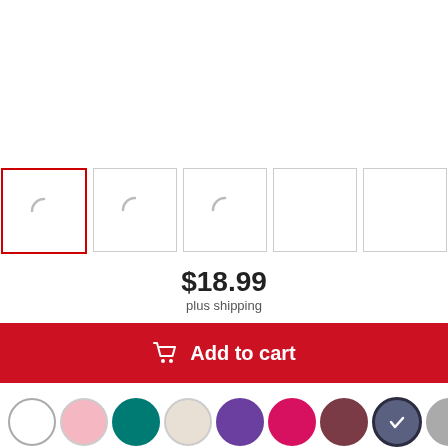[Figure (other): Five product thumbnail image boxes in a row; first box has a red border (selected), the other four have gray borders; first three show a loading spinner icon]
$18.99
plus shipping
Add to cart
[Figure (other): Row of 9 color swatches: white, pink, teal, cream, purple, magenta, maroon, slate-blue (selected with checkmark), gray]
Choose a size
S  M  L  XL  2XL  3XL